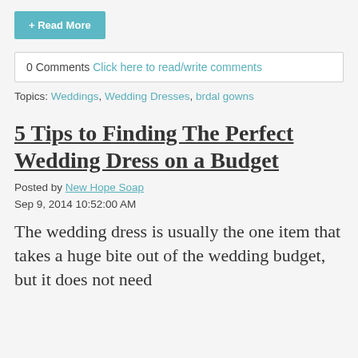+ Read More
0 Comments Click here to read/write comments
Topics: Weddings, Wedding Dresses, brdal gowns
5 Tips to Finding The Perfect Wedding Dress on a Budget
Posted by New Hope Soap
Sep 9, 2014 10:52:00 AM
The wedding dress is usually the one item that takes a huge bite out of the wedding budget, but it does not need